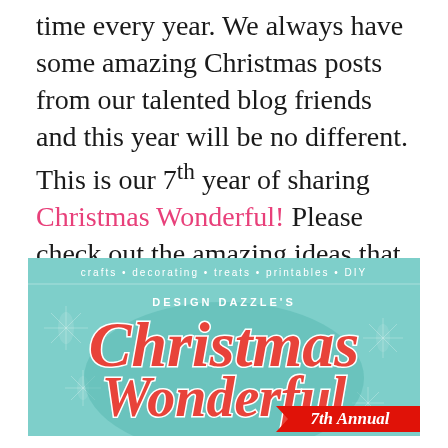time every year. We always have some amazing Christmas posts from our talented blog friends and this year will be no different. This is our 7th year of sharing Christmas Wonderful! Please check out the amazing ideas that have been shared for the past 6 years.
[Figure (illustration): Design Dazzle's Christmas Wonderful 7th Annual banner graphic with teal/mint background, snowflake patterns, script lettering for 'Christmas Wonderful', and a red ribbon with '7th Annual']